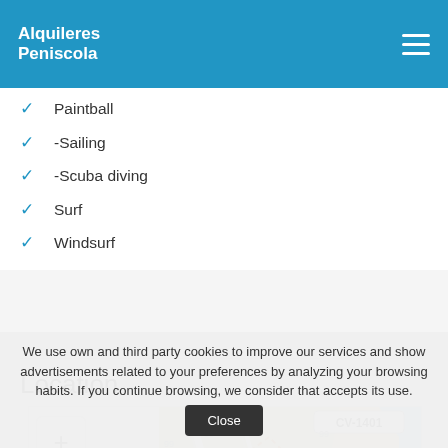Alquileres Peniscola
Paintball
-Sailing
-Scuba diving
Surf
Windsurf
Location
[Figure (map): Interactive map showing a coastal area near CV-1401 road, with green fields, roads, and blue sea. Map includes zoom in (+) and zoom out (-) controls on the left side.]
We use own and third party cookies to improve our services and show advertisements related to your preferences by analyzing your browsing habits. If you continue browsing, we consider that accepts its use.